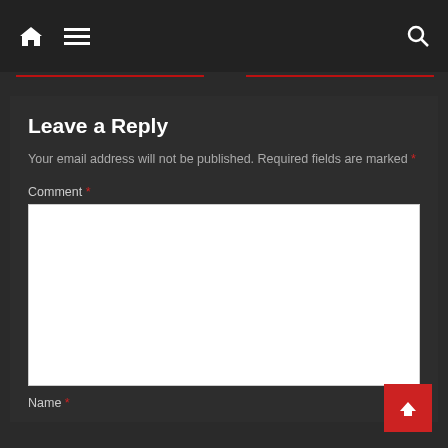Navigation bar with home, menu, and search icons
Leave a Reply
Your email address will not be published. Required fields are marked *
Comment *
Name *